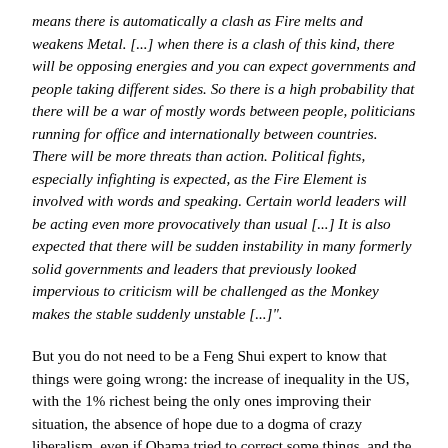means there is automatically a clash as Fire melts and weakens Metal. [...] when there is a clash of this kind, there will be opposing energies and you can expect governments and people taking different sides. So there is a high probability that there will be a war of mostly words between people, politicians running for office and internationally between countries. There will be more threats than action. Political fights, especially infighting is expected, as the Fire Element is involved with words and speaking. Certain world leaders will be acting even more provocatively than usual [...] It is also expected that there will be sudden instability in many formerly solid governments and leaders that previously looked impervious to criticism will be challenged as the Monkey makes the stable suddenly unstable [...]".
But you do not need to be a Feng Shui expert to know that things were going wrong: the increase of inequality in the US, with the 1% richest being the only ones improving their situation, the absence of hope due to a dogma of crazy liberalism, even if Obama tried to correct some things, and the impression – not only an impression,